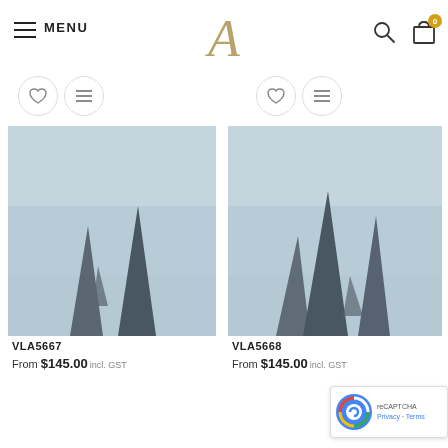MENU | A (logo) | search | cart (0)
[Figure (screenshot): Action buttons row with heart (wishlist) and list (menu) icons for two products]
[Figure (photo): Sailing boat masts against a pale blue-grey sky, product VLA5667]
VLA5667
From $145.00 incl. GST
[Figure (photo): Sailing boat masts against a pale blue-grey sky, product VLA5668]
VLA5668
From $145.00 incl. GST